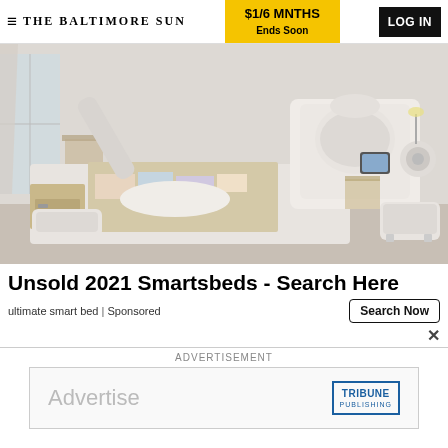≡ THE BALTIMORE SUN | $1/6 MNTHS Ends Soon | LOG IN
[Figure (photo): A luxury white smart bed with storage compartments open, massage features, built-in speakers, tablet holder, and an ottoman, displayed in a styled bedroom setting.]
Unsold 2021 Smartsbeds - Search Here
ultimate smart bed | Sponsored
Search Now
×
ADVERTISEMENT
[Figure (logo): Tribune Publishing advertisement banner with 'Advertise' text and Tribune Publishing logo in blue border.]